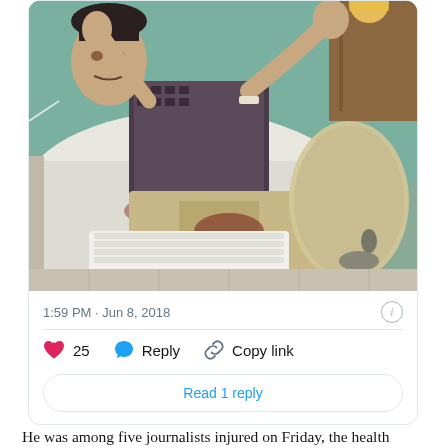[Figure (photo): A man lying on a hospital bed, apparently injured, with bandaged legs and blood visible on clothing. His arms are raised. Hospital setting with teal/green walls.]
1:59 PM · Jun 8, 2018
25  Reply  Copy link
Read 1 reply
He was among five journalists injured on Friday, the health